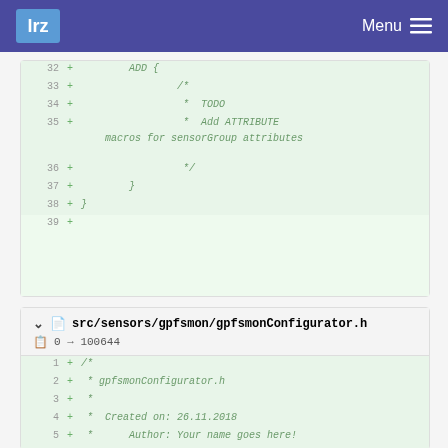lrz  Menu
[Figure (screenshot): Code diff showing lines 32-39 with added lines including ADD { block with TODO comment about adding ATTRIBUTE macros for sensorGroup attributes]
src/sensors/gpfsmon/gpfsmonConfigurator.h
0 → 100644
[Figure (screenshot): Code diff showing lines 1-7 of gpfsmonConfigurator.h with file header comment including Created on: 26.11.2018 and Author: Your name goes here!]